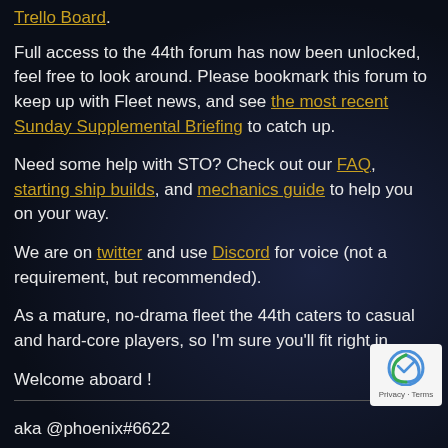Trello Board.
Full access to the 44th forum has now been unlocked, feel free to look around. Please bookmark this forum to keep up with Fleet news, and see the most recent Sunday Supplemental Briefing to catch up.
Need some help with STO? Check out our FAQ, starting ship builds, and mechanics guide to help you on your way.
We are on twitter and use Discord for voice (not a requirement, but recommended).
As a mature, no-drama fleet the 44th caters to casual and hard-core players, so I'm sure you'll fit right in.
Welcome aboard !
aka @phoenix#6622